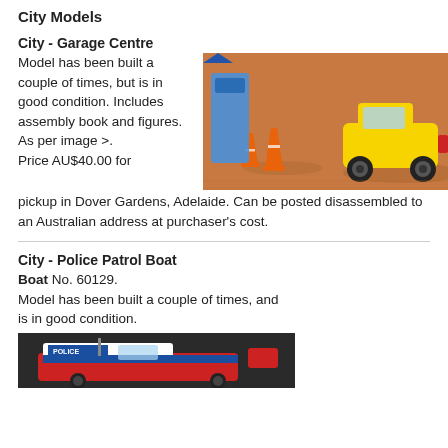City Models
City - Garage Centre
Model has been built a couple of times, but is in good condition. Includes assembly book and figures. As per image >.
Price AU$40.00 for pickup in Dover Gardens, Adelaide. Can be posted disassembled to an Australian address at purchaser's cost.
[Figure (photo): Photo of a LEGO City Garage Centre model on a wooden floor, showing a yellow vehicle, orange traffic cones, and blue/grey structures.]
City - Police Patrol Boat No. 60129.
Model has been built a couple of times, and is in good condition.
[Figure (photo): Photo of a LEGO City Police Patrol Boat model, partially visible at bottom of page.]